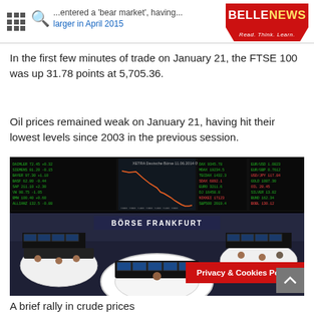BELLENEWS - ...entered a 'bear market', having... larger in April 2015
In the first few minutes of trade on January 21, the FTSE 100 was up 31.78 points at 5,705.36.
Oil prices remained weak on January 21, having hit their lowest levels since 2003 in the previous session.
[Figure (photo): Frankfurt Stock Exchange (Börse Frankfurt) trading floor with traders at multiple monitor stations, and stock ticker boards above showing market data. The floor has a distinctive circular arrangement of trading desks.]
A brief rally in crude prices qui...   after